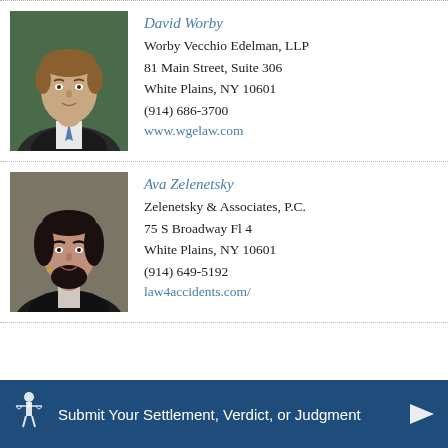[Figure (photo): Professional headshot of David Worby, a middle-aged man in a suit and tie, against a dark green background]
David Worby
Worby Vecchio Edelman, LLP
81 Main Street, Suite 306
White Plains, NY 10601
(914) 686-3700
www.wgelaw.com
[Figure (photo): Professional headshot of Ava Zelenetsky, a woman with dark hair wearing a black jacket, against a neutral background]
Ava Zelenetsky
Zelenetsky & Associates, P.C.
75 S Broadway Fl 4
White Plains, NY 10601
(914) 649-5192
law4accidents.com/
[Figure (infographic): Dark blue banner with a scales of justice icon and text: Submit Your Settlement, Verdict, or Judgment with a white arrow on the right]